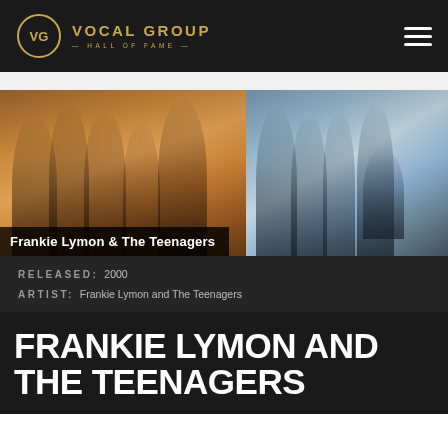VG VOCAL GROUP HALL OF FAME
[Figure (photo): Two side-by-side photos of Frankie Lymon & The Teenagers — left half sepia-toned group photo of five young men, right half another group photo with cooler tones]
Frankie Lymon & The Teenagers
RELEASED: 2000
ARTIST: Frankie Lymon and The Teenagers
FRANKIE LYMON AND THE TEENAGERS